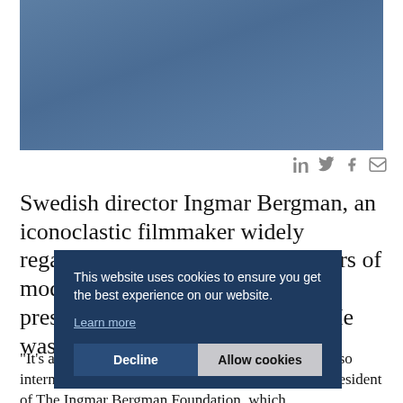[Figure (photo): Muted blue-grey rectangular image placeholder, likely a photograph header image for an article about Ingmar Bergman]
in 𝕏 f ✉ (social sharing icons: LinkedIn, Twitter/X, Facebook, Email)
Swedish director Ingmar Bergman, an iconoclastic filmmaker widely regarded as one of the great masters of modern cinema, died Monday, the president of his foundation said. He was 89.
"It's an unbelievable loss to Sweden, but even more so internationally," said Astrid Söderbergh Widding, president of The Ingmar Bergman Foundation, which
This website uses cookies to ensure you get the best experience on our website.
Learn more
Decline   Allow cookies